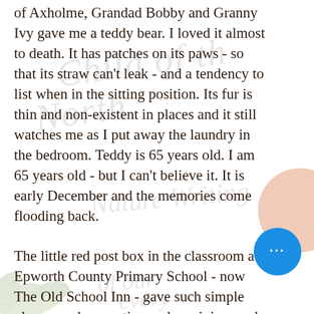of Axholme, Grandad Bobby and Granny Ivy gave me a teddy bear. I loved it almost to death. It has patches on its paws - so that its straw can't leak - and a tendency to list when in the sitting position. Its fur is thin and non-existent in places and it still watches me as I put away the laundry in the bedroom. Teddy is 65 years old. I am 65 years old - but I can't believe it. It is early December and the memories come flooding back.
The little red post box in the classroom at Epworth County Primary School - now The Old School Inn - gave such simple pleasure when posting and receiving cards to and from school friends and teachers. These school post boxes are still appreciated in schools up and down